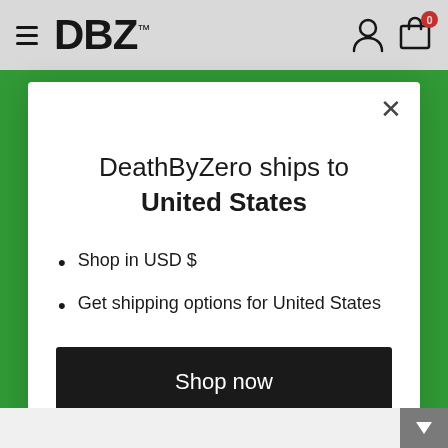[Figure (screenshot): DBZ brand website header with hamburger menu icon, DBZ logo, user account icon, and shopping bag icon with red badge showing 0]
DeathByZero ships to United States
Shop in USD $
Get shipping options for United States
Shop now
Change shipping country